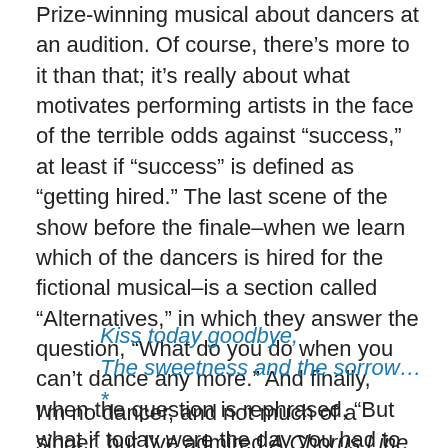Prize-winning musical about dancers at an audition. Of course, there's more to it than that; it's really about what motivates performing artists in the face of the terrible odds against “success,” at least if “success” is defined as “getting hired.” The last scene of the show before the finale–when we learn which of the dancers is hired for the fictional musical–is a section called “Alternatives,” in which they answer the question, “What do you do when you can’t dance any more.” And finally, when the question is rephrased, “But what if today were the day you had to stop dancing. How would you feel?” the answer comes in the musical’s most well-known song, “What I Did for Love.”
Kiss today goodbye,
The sweetness and the sorrow…*
I’m no dancer, and not much of a singer, but I’ve admired A Chorus Line as long as I’ve known about it. I bought the